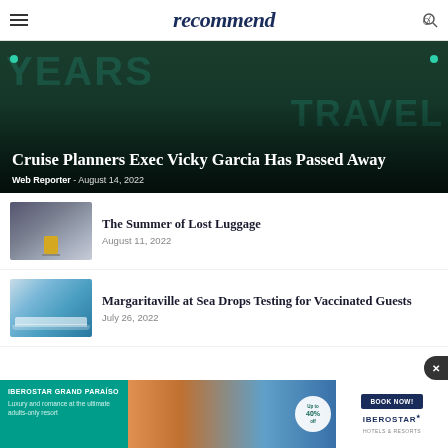recommend
[Figure (photo): Hero image: Cruise Planners Exec Vicky Garcia in a green sparkly jacket against a dark green background with text overlay 'YEARS OF TRAVEL']
Cruise Planners Exec Vicky Garcia Has Passed Away
Web Reporter - August 14, 2022
[Figure (photo): Thumbnail of airport corridor with yellow suitcase]
The Summer of Lost Luggage
August 11, 2022
[Figure (photo): Thumbnail of a cruise ship at sea]
Margaritaville at Sea Drops Testing for Vaccinated Guests
July 26, 2022
[Figure (photo): Iberostar Grand Paraiso advertisement banner with resort image and Up to 40% off badge]
IBEROSTAR GRAND PARAÍSO - Luxury and romance at the ultimate adults-only resort - BOOK NOW! - IBEROSTAR HOTELS & RESORTS